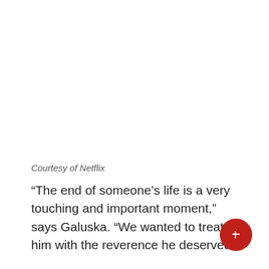Courtesy of Netflix
“The end of someone’s life is a very touching and important moment,” says Galuska. “We wanted to treat him with the reverence he deserved.”